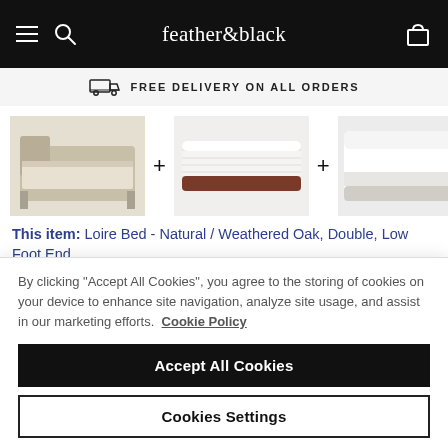feather & black
FREE DELIVERY ON ALL ORDERS
[Figure (photo): Three product images in a row: a bed frame (Loire Bed in Natural/Weathered Oak), a mattress (TEMPUR), and a mattress protector, separated by plus signs]
This item: Loire Bed - Natural / Weathered Oak, Double, Low Foot End
£1,299
TEMPUR CoolTouch Original doublesta...
By clicking "Accept All Cookies", you agree to the storing of cookies on your device to enhance site navigation, analyze site usage, and assist in our marketing efforts. Cookie Policy
Accept All Cookies
Cookies Settings